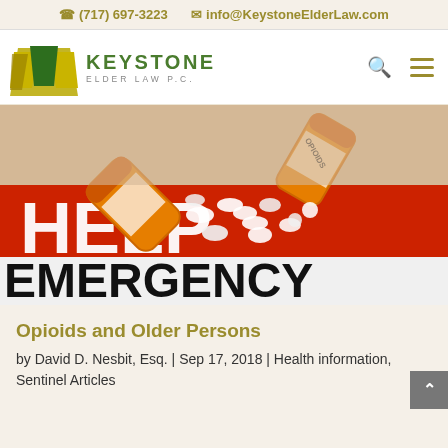(717) 697-3223   info@KeystoneElderLaw.com
[Figure (logo): Keystone Elder Law P.C. logo with golden keystone shape and green trapezoid emblem]
[Figure (photo): Photo of orange prescription pill bottles spilling opioid pills onto a surface with text reading HELP EMERGENCY]
Opioids and Older Persons
by David D. Nesbit, Esq. | Sep 17, 2018 | Health information, Sentinel Articles